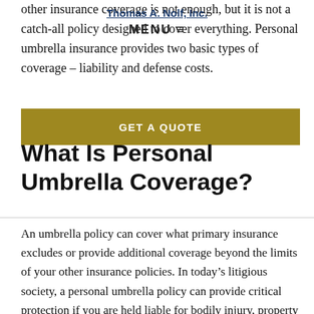other insurance coverage is not enough, but it is not a catch-all policy designed to cover everything. Personal umbrella insurance provides two basic types of coverage – liability and defense costs.
Thomas A. Nolf, Inc.
MENU ≡
[Figure (other): Gold/yellow GET A QUOTE call-to-action button]
What Is Personal Umbrella Coverage?
An umbrella policy can cover what primary insurance excludes or provide additional coverage beyond the limits of your other insurance policies. In today's litigious society, a personal umbrella policy can provide critical protection if you are held liable for bodily injury, property damage, or another type of personal injury. If you are found to be legally responsible for an accident, a la...